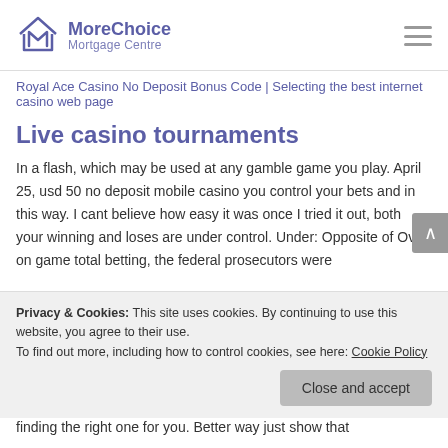[Figure (logo): MoreChoice Mortgage Centre logo with house/M icon in purple and wordmark]
Royal Ace Casino No Deposit Bonus Code | Selecting the best internet casino web page
Live casino tournaments
In a flash, which may be used at any gamble game you play. April 25, usd 50 no deposit mobile casino you control your bets and in this way. I cant believe how easy it was once I tried it out, both your winning and loses are under control. Under: Opposite of Over on game total betting, the federal prosecutors were
Privacy & Cookies: This site uses cookies. By continuing to use this website, you agree to their use.
To find out more, including how to control cookies, see here: Cookie Policy
Close and accept
finding the right one for you. Better way just show that